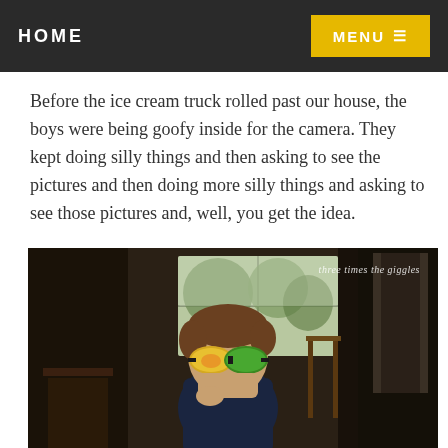HOME   MENU
Before the ice cream truck rolled past our house, the boys were being goofy inside for the camera. They kept doing silly things and then asking to see the pictures and then doing more silly things and asking to see those pictures and, well, you get the idea.
[Figure (photo): A young boy wearing large green and yellow goggles/sunglasses sitting at a table inside a home. The background shows wooden chairs, a window with green trees visible outside, and a dimly lit interior room. A watermark reads 'three times the giggles' in the upper right corner.]